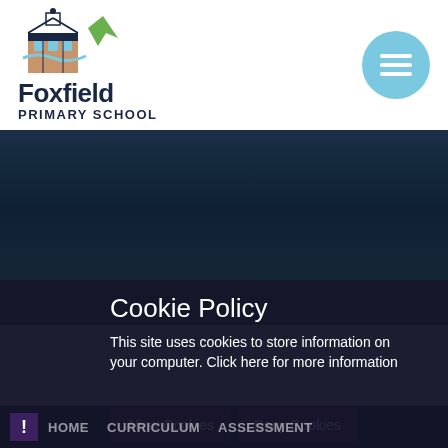[Figure (logo): Foxfield Primary School logo — stylized illustration of school building with blue wave, green checkmark, and small dome/tower, above bold text 'Foxfield PRIMARY SCHOOL']
[Figure (illustration): Dark teal/navy gradient banner background area]
Cookie Policy
This site uses cookies to store information on your computer. Click here for more information
Allow Cookies
Deny Cookies
! HOME CURRICULUM ASSESSMENT